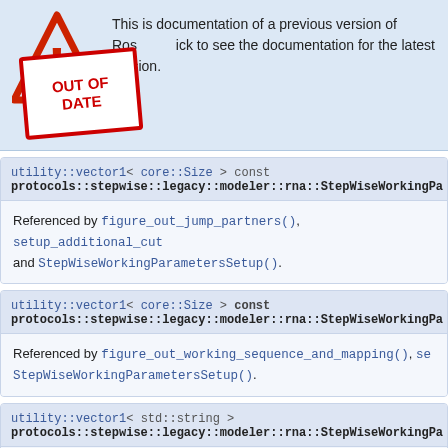This is documentation of a previous version of Rosetta. Click to see the documentation for the latest version.
utility::vector1< core::Size > const protocols::stepwise::legacy::modeler::rna::StepWiseWorkingParameters
Referenced by figure_out_jump_partners(), setup_additional_cutpoints_and_close_chain(), and StepWiseWorkingParametersSetup().
utility::vector1< core::Size > const protocols::stepwise::legacy::modeler::rna::StepWiseWorkingParameters
Referenced by figure_out_working_sequence_and_mapping(), setup_additional_cutpoints_and_close_chain(), and StepWiseWorkingParametersSetup().
utility::vector1< std::string > protocols::stepwise::legacy::modeler::rna::StepWiseWorkingParameters
Referenced by get_previously_closed_cutpoint_from_imported